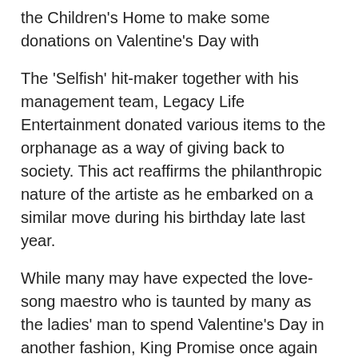the Children's Home to make some donations on Valentine's Day with
The 'Selfish' hit-maker together with his management team, Legacy Life Entertainment donated various items to the orphanage as a way of giving back to society. This act reaffirms the philanthropic nature of the artiste as he embarked on a similar move during his birthday late last year.
While many may have expected the love-song maestro who is taunted by many as the ladies' man to spend Valentine's Day in another fashion, King Promise once again demonstrated where his true love lies and spent the day with the deprived children.
The donation which was supported by King Promise, Legacy Life Entertainment and MM Homes saw the institution receive of the various items including; Toiletries, Boxes of Indomie Noodles, Tins of Milo and Evaporated Milk, Sugar,